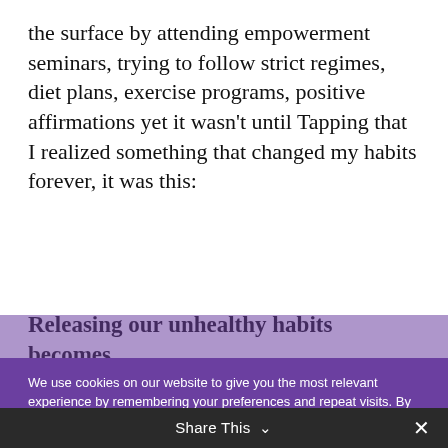the surface by attending empowerment seminars, trying to follow strict regimes, diet plans, exercise programs, positive affirmations yet it wasn't until Tapping that I realized something that changed my habits forever, it was this:
Releasing our unhealthy habits becomes
[Figure (screenshot): Cookie consent banner with purple background. Text reads: 'We use cookies on our website to give you the most relevant experience by remembering your preferences and repeat visits. By clicking "Accept", you consent to the use of ALL the cookies.' with a 'Do not sell my personal information' link, and buttons: 'Cookie settings' and 'ACCEPT'.]
Share This ∨  ✕